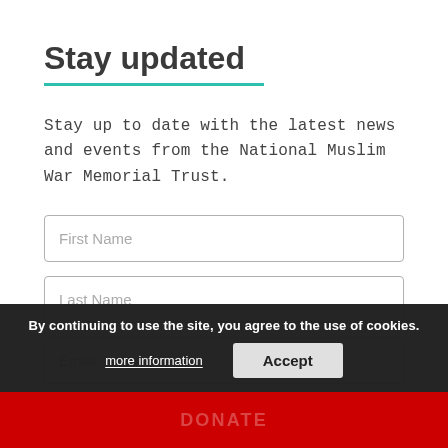Stay updated
Stay up to date with the latest news and events from the National Muslim War Memorial Trust.
First Name
Last Name
Email
By continuing to use the site, you agree to the use of cookies.
more information
Accept
DONATE